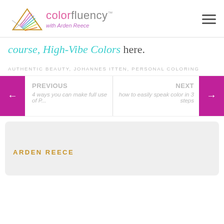[Figure (logo): Colorfluency logo with triangle and rainbow fan icon, text 'color' in pink and 'fluency' in gray with TM mark, subtitle 'with Arden Reece' in purple]
course, High-Vibe Colors here.
AUTHENTIC BEAUTY, JOHANNES ITTEN, PERSONAL COLORING
← PREVIOUS | 4 ways you can make full use of P... | how to easily speak color in 3 steps | NEXT →
ARDEN REECE